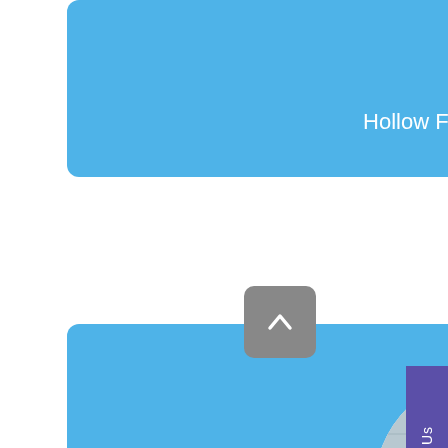[Figure (illustration): Blue card with circular image of hollow fiber membranes and label 'Hollow Fiber – UF & MBR']
[Figure (photo): Blue card with circular photo of a woman and child at a kitchen sink, labeled 'Reverse Osmosis']
[Figure (illustration): Partial blue card visible at bottom of page, with partial circular purple/violet image]
[Figure (other): Gray back-to-top button with upward chevron arrow]
[Figure (other): Purple vertical 'Contact Us' sidebar tab on right edge]